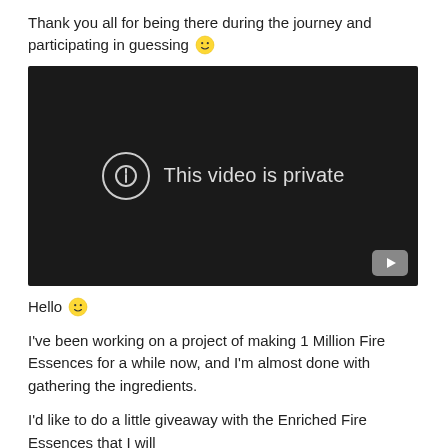Thank you all for being there during the journey and participating in guessing 🙂
[Figure (screenshot): Embedded video player showing 'This video is private' message with a YouTube logo in the bottom right corner. The player background is dark/black.]
Hello 🙂
I've been working on a project of making 1 Million Fire Essences for a while now, and I'm almost done with gathering the ingredients.
I'd like to do a little giveaway with the Enriched Fire Essences that I will